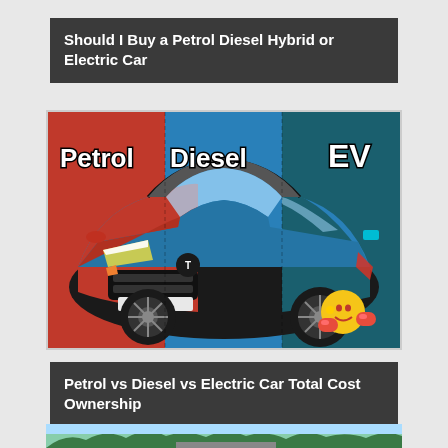Should I Buy a Petrol Diesel Hybrid or Electric Car
[Figure (illustration): Tata Nexon SUV shown split into three color sections labeled Petrol (orange/red), Diesel (blue), and EV (teal/dark). A boxing emoji is visible at bottom right. Bold black-and-white text labels each section.]
Petrol vs Diesel vs Electric Car Total Cost Ownership
[Figure (photo): Partial view of a road/outdoor scene with trees, partially cut off at bottom of page.]